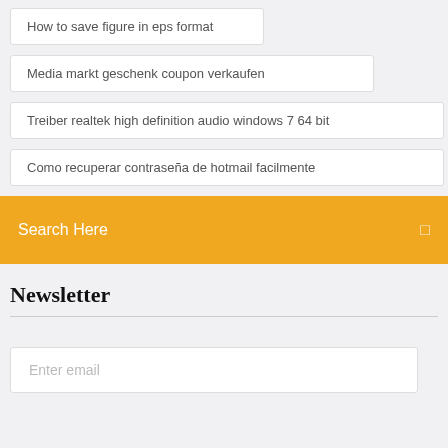How to save figure in eps format
Media markt geschenk coupon verkaufen
Treiber realtek high definition audio windows 7 64 bit
Como recuperar contraseña de hotmail facilmente
Search Here
Newsletter
Enter email